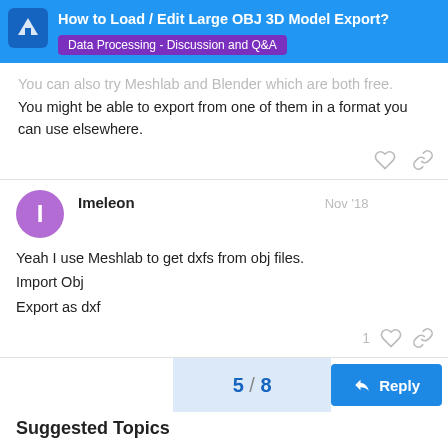How to Load / Edit Large OBJ 3D Model Export? | Data Processing - Discussion and Q&A
You can also try Meshlab and Blender which are both free. You might be able to export from one of them in a format you can use elsewhere.
Imeleon  Nov '18
Yeah I use Meshlab to get dxfs from obj files.
Import Obj
Export as dxf
5 / 8
Suggested Topics